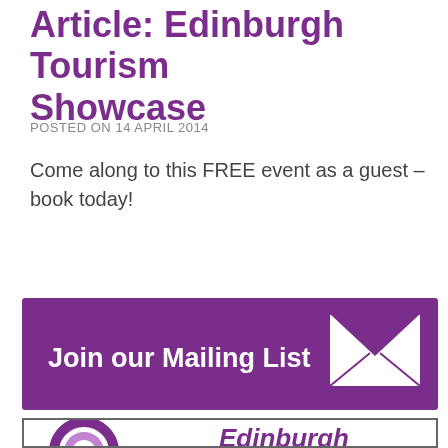Article: Edinburgh Tourism Showcase
POSTED ON 14 APRIL 2014
Come along to this FREE event as a guest – book today!
[Figure (infographic): Purple banner with white bold text 'Join our Mailing List' and a white envelope icon on the right.]
[Figure (logo): Edinburgh logo with purple concentric circle target graphic on the left and bold italic 'Edinburgh' text in purple on the right, inside a bordered box.]